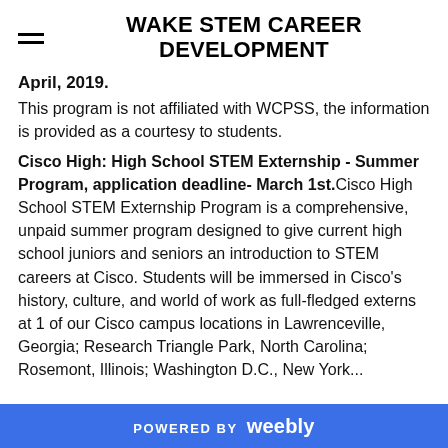WAKE STEM CAREER DEVELOPMENT
April, 2019.
This program is not affiliated with WCPSS, the information is provided as a courtesy to students.
Cisco High: High School STEM Externship - Summer Program, application deadline- March 1st. Cisco High School STEM Externship Program is a comprehensive, unpaid summer program designed to give current high school juniors and seniors an introduction to STEM careers at Cisco. Students will be immersed in Cisco's history, culture, and world of work as full-fledged externs at 1 of our Cisco campus locations in Lawrenceville, Georgia; Research Triangle Park, North Carolina; Rosemont, Illinois; Washington D.C.; New York...
POWERED BY weebly